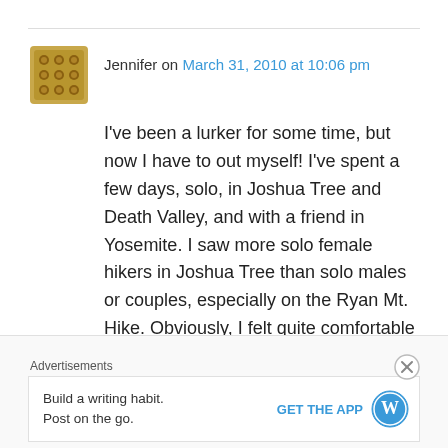Jennifer on March 31, 2010 at 10:06 pm
I've been a lurker for some time, but now I have to out myself! I've spent a few days, solo, in Joshua Tree and Death Valley, and with a friend in Yosemite. I saw more solo female hikers in Joshua Tree than solo males or couples, especially on the Ryan Mt. Hike. Obviously, I felt quite comfortable hiking solo there and felt the same about Death Valley, and this was my first solo hiking adventure outside of my home area. My time in Yosemite was spent with a friend, but, among the insane June crowds, were numerous
Advertisements
Build a writing habit.
Post on the go.
GET THE APP